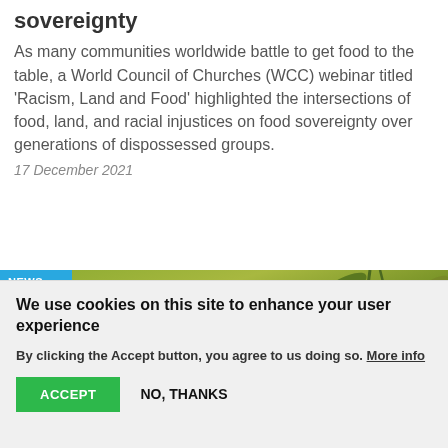sovereignty
As many communities worldwide battle to get food to the table, a World Council of Churches (WCC) webinar titled 'Racism, Land and Food' highlighted the intersections of food, land, and racial injustices on food sovereignty over generations of dispossessed groups.
17 December 2021
[Figure (photo): Photo of olive branch with green leaves and small buds against blurred green background, with a 'NEWS' badge in the top left corner]
We use cookies on this site to enhance your user experience
By clicking the Accept button, you agree to us doing so. More info
ACCEPT    NO, THANKS